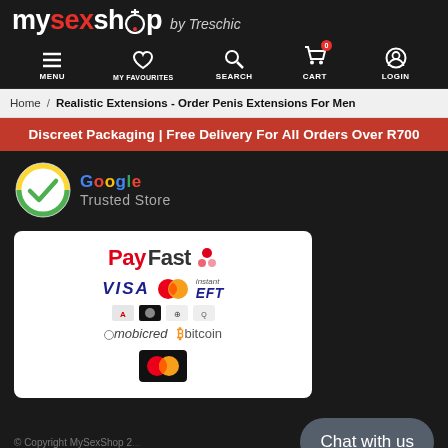mysexshop by Treschic — MENU | MY FAVOURITES | SEARCH | CART | LOGIN
Home / Realistic Extensions - Order Penis Extensions For Men
Discreet Packaging | Free Delivery For All Orders Over R700
[Figure (logo): Google Trusted Store badge with green checkmark circle and Google logo text]
[Figure (logo): PayFast payment methods banner showing VISA, Mastercard, instant EFT, various payment icons, mobicred, bitcoin, and Mastercard secure]
© Copyright MySexShop 2...
Chat with us